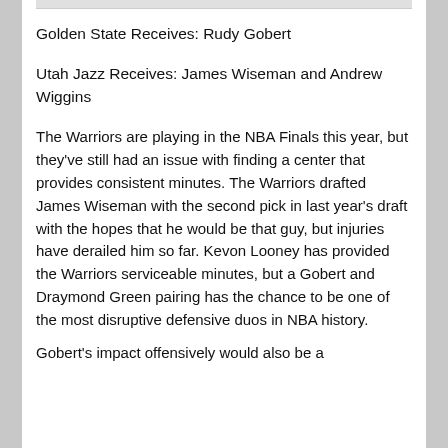Golden State Receives: Rudy Gobert
Utah Jazz Receives: James Wiseman and Andrew Wiggins
The Warriors are playing in the NBA Finals this year, but they've still had an issue with finding a center that provides consistent minutes. The Warriors drafted James Wiseman with the second pick in last year's draft with the hopes that he would be that guy, but injuries have derailed him so far. Kevon Looney has provided the Warriors serviceable minutes, but a Gobert and Draymond Green pairing has the chance to be one of the most disruptive defensive duos in NBA history.
Gobert's impact offensively would also be a